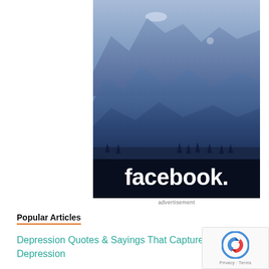[Figure (photo): Facebook advertisement showing a blue mountain landscape at dusk with layered mountain silhouettes and the Facebook logo in white text at the bottom]
advertisement
Popular Articles
Depression Quotes & Sayings That Capture Life w Depression